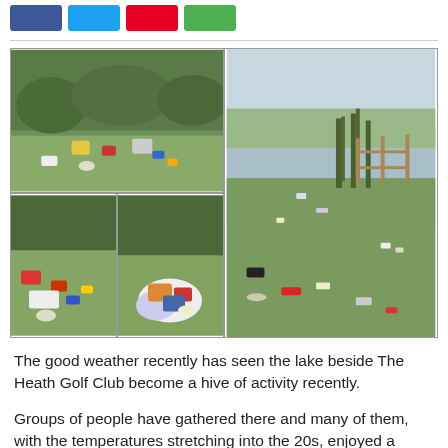[Figure (photo): Social media share buttons: Facebook (blue), Twitter (cyan), Pinterest (red), WhatsApp (green)]
[Figure (photo): Collage of four photos showing litter and rubbish scattered on grass beside a lake near The Heath Golf Club. Left top: green area with bags and rubbish. Bottom left: red and multicolored litter on grass. Bottom center: pile of bags and rubbish. Right large: waterside scene with cans and bottles floating in and around a reed-edged lake with a wooden fence.]
The good weather recently has seen the lake beside The Heath Golf Club become a hive of activity recently.
Groups of people have gathered there and many of them, with the temperatures stretching into the 20s, enjoyed a swim in the water.